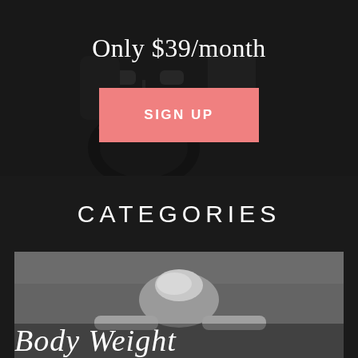[Figure (photo): Dark gym workout background photo with person exercising with kettlebell]
Only $39/month
SIGN UP
CATEGORIES
[Figure (photo): Black and white photo of a woman doing bodyweight exercise, with text 'BodyWeight' overlaid at the bottom]